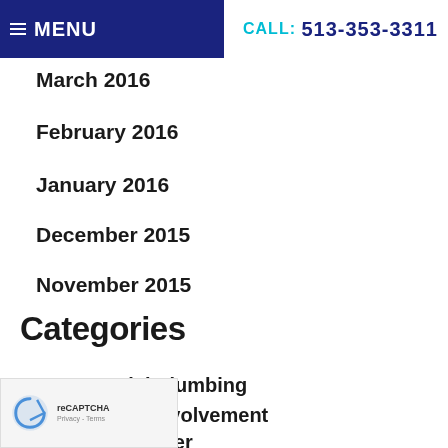MENU | CALL: 513-353-3311
March 2016
February 2016
January 2016
December 2015
November 2015
Categories
Commercial Plumbing
Community Involvement
Drain and Sewer